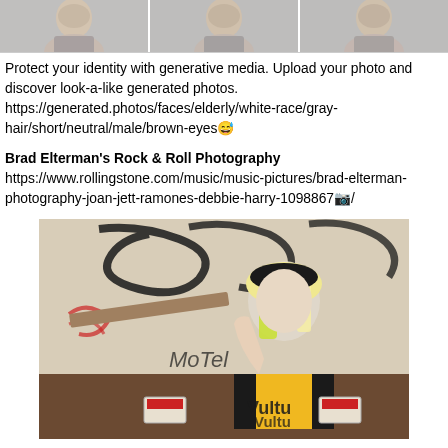[Figure (photo): Three cropped facial photos of an older white male with gray/white short hair, neutral expression, arranged side by side at the top of the page.]
Protect your identity with generative media. Upload your photo and discover look-a-like generated photos.
https://generated.photos/faces/elderly/white-race/gray-hair/short/neutral/male/brown-eyes😅

Brad Elterman's Rock & Roll Photography
https://www.rollingstone.com/music/music-pictures/brad-elterman-photography-joan-jett-ramones-debbie-harry-1098867/
[Figure (photo): A photograph of a young woman with bleached blonde and neon yellow-green streaked hair wearing a black beanie, standing in front of a graffiti-covered wall. She is wearing a black and yellow 'Vulture' t-shirt and has her arm raised over her head. The bottom of the image shows a wooden surface with stickers.]